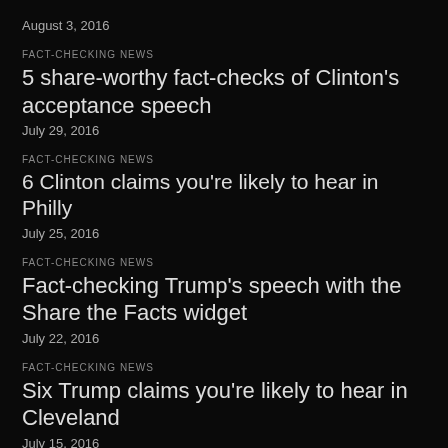August 3, 2016
FACT-CHECKING NEWS
5 share-worthy fact-checks of Clinton's acceptance speech
July 29, 2016
FACT-CHECKING NEWS
6 Clinton claims you're likely to hear in Philly
July 25, 2016
FACT-CHECKING NEWS
Fact-checking Trump's speech with the Share the Facts widget
July 22, 2016
FACT-CHECKING NEWS
Six Trump claims you're likely to hear in Cleveland
July 15, 2016